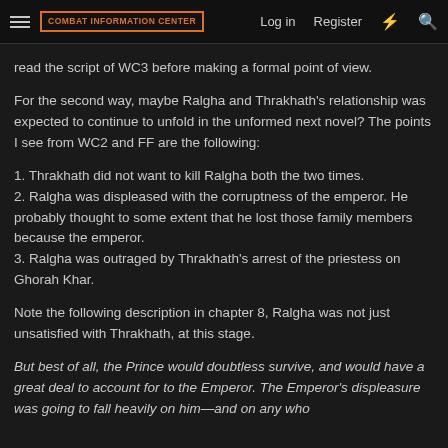Combat Information Center | Log in | Register
read the script of WC3 before making a formal point of view.
For the second way, maybe Ralgha and Thrakhath's relationship was expected to continue to unfold in the unformed next novel? The points I see from WC2 and FF are the following:
1. Thrakhath did not want to kill Ralgha both the two times.
2. Ralgha was displeased with the corruptness of the emperor. He probably thought to some extent that he lost those family members because the emperor.
3. Ralgha was outraged by Thrakhath's arrest of the priestess on Ghorah Khar.
Note the following description in chapter 8, Ralgha was not just unsatisfied with Thrakhath, at this stage.
But best of all, the Prince would doubtless survive, and would have a great deal to account for to the Emperor. The Emperor's displeasure was going to fall heavily on him—and on any who